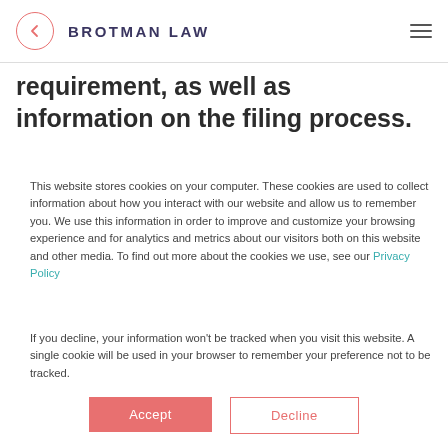BROTMAN LAW
requirement, as well as information on the filing process.
This website stores cookies on your computer. These cookies are used to collect information about how you interact with our website and allow us to remember you. We use this information in order to improve and customize your browsing experience and for analytics and metrics about our visitors both on this website and other media. To find out more about the cookies we use, see our Privacy Policy
If you decline, your information won’t be tracked when you visit this website. A single cookie will be used in your browser to remember your preference not to be tracked.
Accept
Decline